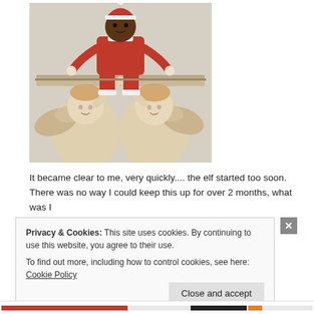[Figure (photo): An Elf on the Shelf doll dressed in red sitting on a decorative cherub/angel wall shelf bracket with two cherub angels on a beige wall.]
It became clear to me, very quickly.... the elf started too soon. There was no way I could keep this up for over 2 months, what was I
Privacy & Cookies: This site uses cookies. By continuing to use this website, you agree to their use.
To find out more, including how to control cookies, see here: Cookie Policy
Close and accept